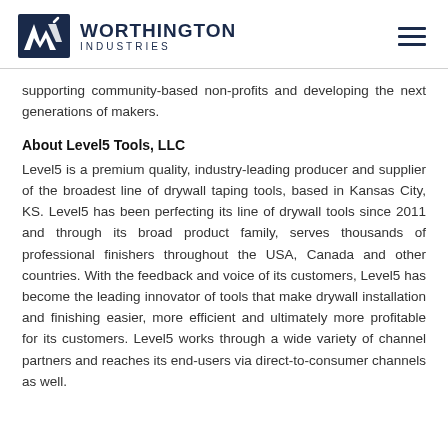WORTHINGTON INDUSTRIES
supporting community-based non-profits and developing the next generations of makers.
About Level5 Tools, LLC
Level5 is a premium quality, industry-leading producer and supplier of the broadest line of drywall taping tools, based in Kansas City, KS. Level5 has been perfecting its line of drywall tools since 2011 and through its broad product family, serves thousands of professional finishers throughout the USA, Canada and other countries. With the feedback and voice of its customers, Level5 has become the leading innovator of tools that make drywall installation and finishing easier, more efficient and ultimately more profitable for its customers. Level5 works through a wide variety of channel partners and reaches its end-users via direct-to-consumer channels as well.